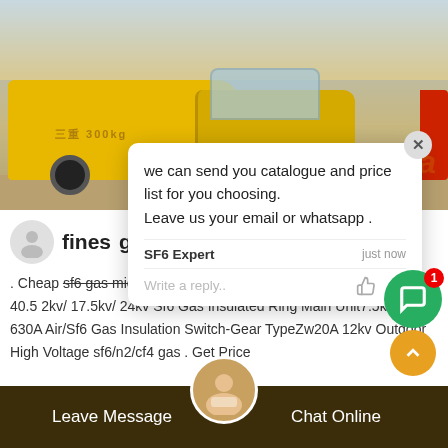[Figure (photo): Yellow truck photographed on a dirt surface with a grey/cloudy sky. Chinese text visible on the truck. Background shows construction or industrial setting.]
we can send you catalogue and price list for you choosing.
Leave us your email or whatsapp .
SF6 Expert    just now
Write a reply..
fines
. Cheap sf6 gas micro-water density Henan Pinggao Electric Co Ltd 40.5 2kv/ 17.5kv/ 24kv Sf6 Gas Insulated Ring Main Unit7.5kv-630A Air/Sf6 Gas Insulation Switch-Gear TypeZw20A 12kv Outdoor High Voltage sf6/n2/cf4 gas . Get Price
Leave Message
Chat Online